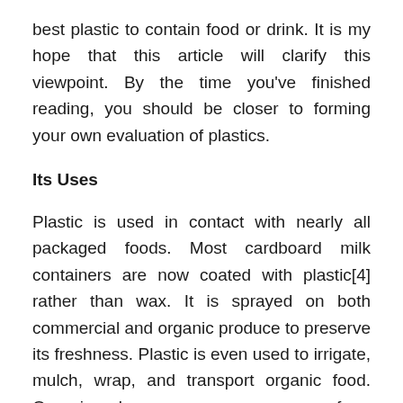best plastic to contain food or drink. It is my hope that this article will clarify this viewpoint. By the time you've finished reading, you should be closer to forming your own evaluation of plastics.
Its Uses
Plastic is used in contact with nearly all packaged foods. Most cardboard milk containers are now coated with plastic[4] rather than wax. It is sprayed on both commercial and organic produce to preserve its freshness. Plastic is even used to irrigate, mulch, wrap, and transport organic food. Organic bananas now come from wholesalers with a sticky plastic wrapping the cut stem to protect the bananas from a black mold.[5] The mold is controlled on non-organic bananas by dipping the cut ends in a fungicide. Chiquita, Dole, and so on